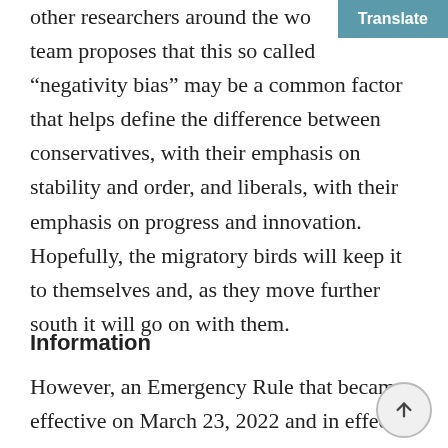other researchers around the wo[rld,] team proposes that this so called “negativity bias” may be a common factor that helps define the difference between conservatives, with their emphasis on stability and order, and liberals, with their emphasis on progress and innovation. Hopefully, the migratory birds will keep it to themselves and, as they move further south it will go on with them.
Information
However, an Emergency Rule that became effective on March 23, 2022 and in effect